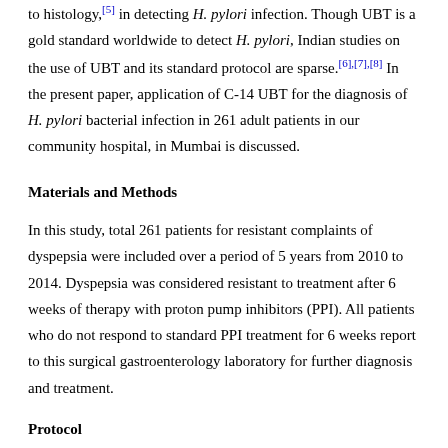to histology,[5] in detecting H. pylori infection. Though UBT is a gold standard worldwide to detect H. pylori, Indian studies on the use of UBT and its standard protocol are sparse.[6],[7],[8] In the present paper, application of C-14 UBT for the diagnosis of H. pylori bacterial infection in 261 adult patients in our community hospital, in Mumbai is discussed.
Materials and Methods
In this study, total 261 patients for resistant complaints of dyspepsia were included over a period of 5 years from 2010 to 2014. Dyspepsia was considered resistant to treatment after 6 weeks of therapy with proton pump inhibitors (PPI). All patients who do not respond to standard PPI treatment for 6 weeks report to this surgical gastroenterology laboratory for further diagnosis and treatment.
Protocol
Patients were asked to stop all antibiotics and PPI drugs such as pantoprazole and omeprazole and bismuth containing drugs for 2 weeks before the test.
Carbon-14 labeled urea breath test as a tool
A text continues below related to the tool...